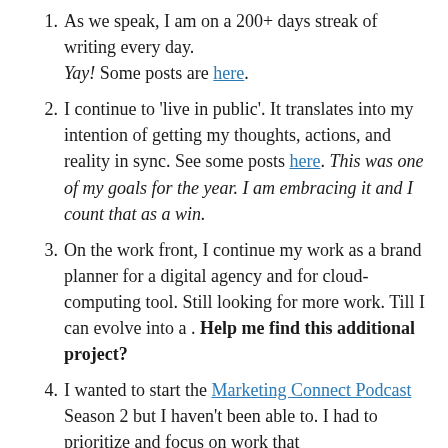As we speak, I am on a 200+ days streak of writing every day. Yay! Some posts are here.
I continue to 'live in public'. It translates into my intention of getting my thoughts, actions, and reality in sync. See some posts here. This was one of my goals for the year. I am embracing it and I count that as a win.
On the work front, I continue my work as a brand planner for a digital agency and for cloud-computing tool. Still looking for more work. Till I can evolve into a . Help me find this additional project?
I wanted to start the Marketing Connect Podcast Season 2 but I haven't been able to. I had to prioritize and focus on work that